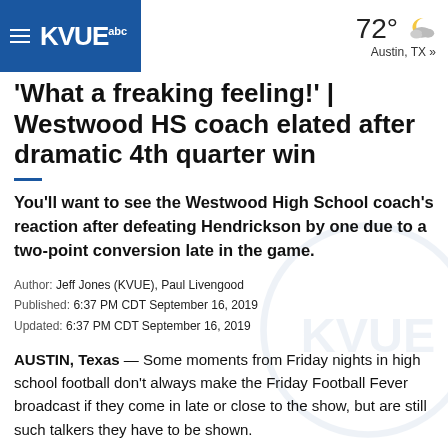KVUE abc | 72° Austin, TX »
'What a freaking feeling!' | Westwood HS coach elated after dramatic 4th quarter win
You'll want to see the Westwood High School coach's reaction after defeating Hendrickson by one due to a two-point conversion late in the game.
Author: Jeff Jones (KVUE), Paul Livengood
Published: 6:37 PM CDT September 16, 2019
Updated: 6:37 PM CDT September 16, 2019
AUSTIN, Texas — Some moments from Friday nights in high school football don't always make the Friday Football Fever broadcast if they come in late or close to the show, but are still such talkers they have to be shown.